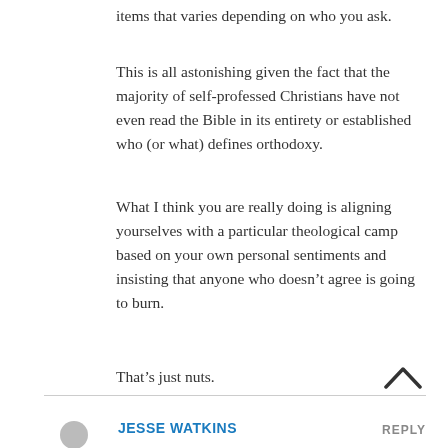items that varies depending on who you ask.
This is all astonishing given the fact that the majority of self-professed Christians have not even read the Bible in its entirety or established who (or what) defines orthodoxy.
What I think you are really doing is aligning yourselves with a particular theological camp based on your own personal sentiments and insisting that anyone who doesn’t agree is going to burn.
That’s just nuts.
JESSE WATKINS
REPLY